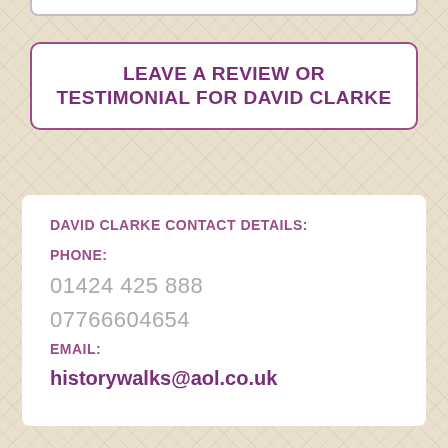LEAVE A REVIEW OR TESTIMONIAL FOR DAVID CLARKE
DAVID CLARKE CONTACT DETAILS:
PHONE:
01424 425 888
07766604654
EMAIL:
historywalks@aol.co.uk